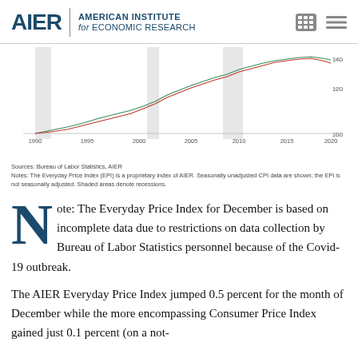AIER | AMERICAN INSTITUTE for ECONOMIC RESEARCH
[Figure (line-chart): Two line chart showing index values (EPI in red, CPI in green) from 1990 to 2020+, with values from approximately 100 to 140. Shaded areas denote recessions.]
Sources: Bureau of Labor Statistics, AIER
Notes: The Everyday Price Index (EPI) is a proprietary index of AIER. Seasonally unadjusted CPI data are shown; the EPI is not seasonally adjusted. Shaded areas denote recessions.
Note: The Everyday Price Index for December is based on incomplete data due to restrictions on data collection by Bureau of Labor Statistics personnel because of the Covid-19 outbreak.
The AIER Everyday Price Index jumped 0.5 percent for the month of December while the more encompassing Consumer Price Index gained just 0.1 percent (on a not-seasonally-adjusted basis). For the year, after sixteen consecutive monthly declines,...